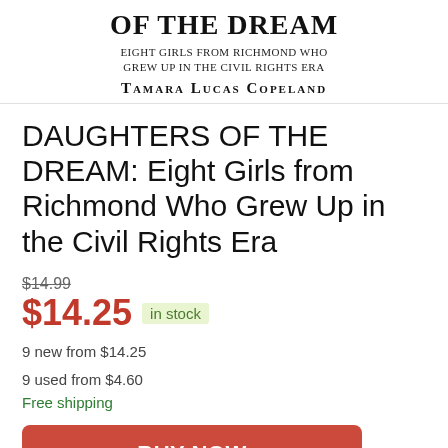[Figure (illustration): Book cover top portion showing title 'OF THE DREAM', subtitle 'EIGHT GIRLS FROM RICHMOND WHO GREW UP IN THE CIVIL RIGHTS ERA', and author name 'TAMARA LUCAS COPELAND']
DAUGHTERS OF THE DREAM: Eight Girls from Richmond Who Grew Up in the Civil Rights Era
$14.99 (strikethrough)
$14.25 in stock
9 new from $14.25
9 used from $4.60
Free shipping
BUY NOW
Amazon.com